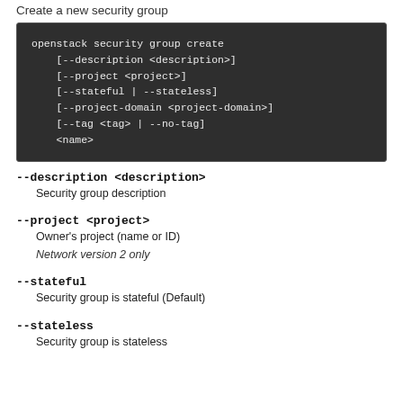Create a new security group
openstack security group create
    [--description <description>]
    [--project <project>]
    [--stateful | --stateless]
    [--project-domain <project-domain>]
    [--tag <tag> | --no-tag]
    <name>
--description <description>
Security group description
--project <project>
Owner's project (name or ID)
Network version 2 only
--stateful
Security group is stateful (Default)
--stateless
Security group is stateless